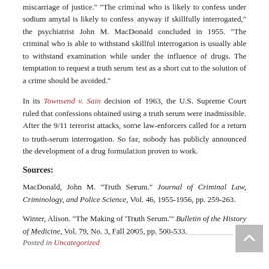miscarriage of justice." "The criminal who is likely to confess under sodium amytal is likely to confess anyway if skillfully interrogated," the psychiatrist John M. MacDonald concluded in 1955. "The criminal who is able to withstand skillful interrogation is usually able to withstand examination while under the influence of drugs. The temptation to request a truth serum test as a short cut to the solution of a crime should be avoided."
In its Townsend v. Sain decision of 1963, the U.S. Supreme Court ruled that confessions obtained using a truth serum were inadmissible. After the 9/11 terrorist attacks, some law-enforcers called for a return to truth-serum interrogation. So far, nobody has publicly announced the development of a drug formulation proven to work.
Sources:
MacDonald, John M. "Truth Serum." Journal of Criminal Law, Criminology, and Police Science, Vol. 46, 1955-1956, pp. 259-263.
Winter, Alison. "The Making of 'Truth Serum.'" Bulletin of the History of Medicine, Vol. 79, No. 3, Fall 2005, pp. 500-533.
Posted in Uncategorized